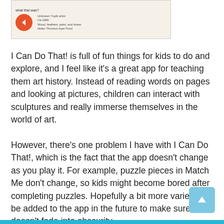[Figure (screenshot): Screenshot of an app interface showing a beige/cream background with an orange back-arrow button on the left and text on the right reading 'Unknown Yupik artist / Ca.1900 / Wood, feathers, paint, and sinew / Helen Thurston Ayer Fund'. Top of screenshot shows partial text 'what that was?']
I Can Do That! is full of fun things for kids to do and explore, and I feel like it's a great app for teaching them art history. Instead of reading words on pages and looking at pictures, children can interact with sculptures and really immerse themselves in the world of art.
However, there's one problem I have with I Can Do That!, which is the fact that the app doesn't change as you play it. For example, puzzle pieces in Match Me don't change, so kids might become bored after completing puzzles. Hopefully a bit more variety can be added to the app in the future to make sure it doesn't fade into obscurity.